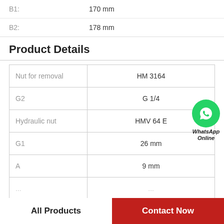| B1: | 170 mm |
| B2: | 178 mm |
Product Details
|  |  |
| --- | --- |
| Nut for removal | HM 3164 |
| G2 | G 1/4 |
| Hydraulic nut | HMV 64 E |
| G1 | 26 mm |
| A | 9 mm |
| ... | ... |
WhatsApp Online
All Products | Contact Now